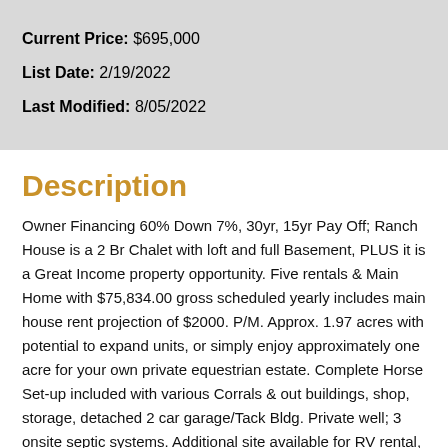Current Price: $695,000
List Date: 2/19/2022
Last Modified: 8/05/2022
Description
Owner Financing 60% Down 7%, 30yr, 15yr Pay Off; Ranch House is a 2 Br Chalet with loft and full Basement, PLUS it is a Great Income property opportunity. Five rentals & Main Home with $75,834.00 gross scheduled yearly includes main house rent projection of $2000. P/M. Approx. 1.97 acres with potential to expand units, or simply enjoy approximately one acre for your own private equestrian estate. Complete Horse Set-up included with various Corrals & out buildings, shop, storage, detached 2 car garage/Tack Bldg. Private well; 3 onsite septic systems. Additional site available for RV rental, or adding another long term living structure. As a bonus you'll be